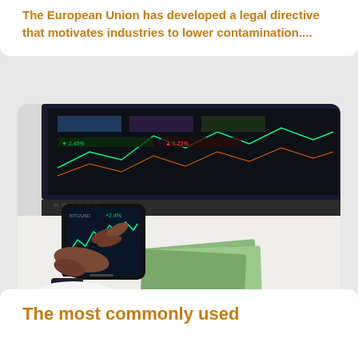The European Union has developed a legal directive that motivates industries to lower contamination....
[Figure (photo): Person holding a smartphone displaying a financial trading chart, with a laptop showing trading screens in the background and cash money on the desk]
The most commonly used